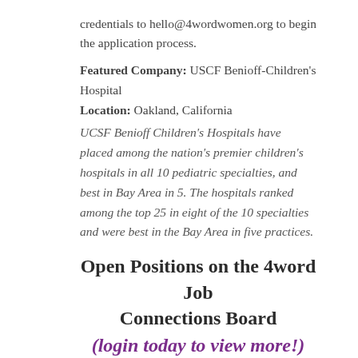credentials to hello@4wordwomen.org to begin the application process.
Featured Company: USCF Benioff-Children's Hospital
Location: Oakland, California
UCSF Benioff Children's Hospitals have placed among the nation's premier children's hospitals in all 10 pediatric specialties, and best in Bay Area in 5. The hospitals ranked among the top 25 in eight of the 10 specialties and were best in the Bay Area in five practices.
Open Positions on the 4word Job Connections Board
(login today to view more!)
Adult Board Director